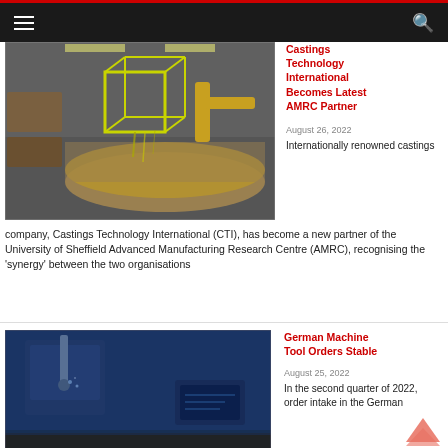Navigation bar with hamburger menu and search icon
[Figure (photo): Industrial casting process showing a yellow 3D-printed lattice structure being dipped or processed over a large circular mold, with industrial machinery and robotic arm in background]
Castings Technology International Becomes Latest AMRC Partner
August 26, 2022
Internationally renowned castings company, Castings Technology International (CTI), has become a new partner of the University of Sheffield Advanced Manufacturing Research Centre (AMRC), recognising the ‘synergy’ between the two organisations
[Figure (photo): CNC machine tool cutting metal with blue-toned industrial setting overlaid with German flag colors (black, red, gold) at bottom]
German Machine Tool Orders Stable
August 25, 2022
In the second quarter of 2022, order intake in the German